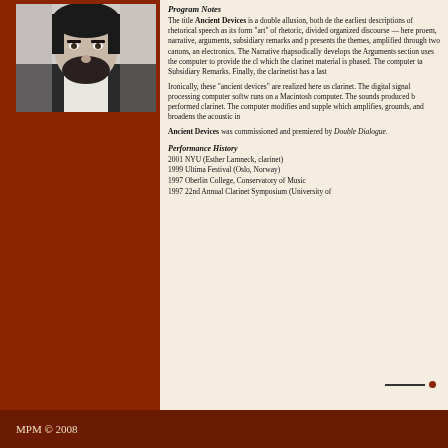[Figure (photo): Black and white portrait photo of a bearded man in a dark jacket]
Program Notes
The title Ancient Devices is a double allusion, both de... the earliest descriptions of rhetorical speech as its form... "art" of rhetoric, divided organized discourse — here ... proem, narrative, arguments, subsidiary remarks and p... presents the themes, amplified through two canons, an... electronics. The Narrative rhapsodically develops the... Arguments section uses the computer to provide the cl... which the clarinet material is phased. The computer ta... Subsidiary Remarks. Finally, the clarinetist has a last...
Ironically, these "ancient devices" are realized here us... clarinet. The digital signal processing computer softw... runs on a Macintosh computer. The sounds produced b... performed clarinet. The computer modifies and supple... which amplifies, grounds, and broadens the acoustic in...
Ancient Devices was commissioned and premiered by... Double Dialogue.
Performance History
2001 NYU (Esther Lamneck, clarinet)
1999 Ultima Festival (Oslo, Norway)
1997 Oberlin College, Conservatory of Music
1997 22nd Annual Clarinet Symposium (University of...
MPM © 2008